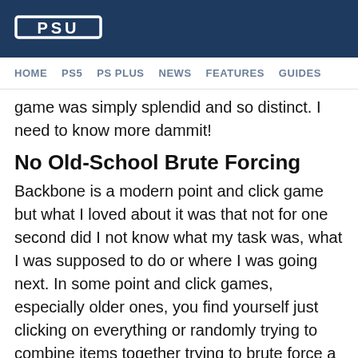PSU
HOME   PS5   PS PLUS   NEWS   FEATURES   GUIDES
game was simply splendid and so distinct. I need to know more dammit!
No Old-School Brute Forcing
Backbone is a modern point and click game but what I loved about it was that not for one second did I not know what my task was, what I was supposed to do or where I was going next. In some point and click games, especially older ones, you find yourself just clicking on everything or randomly trying to combine items together trying to brute force a solution. Not in Backbone though, everything makes sense and flows beautifully from one scene to the next.